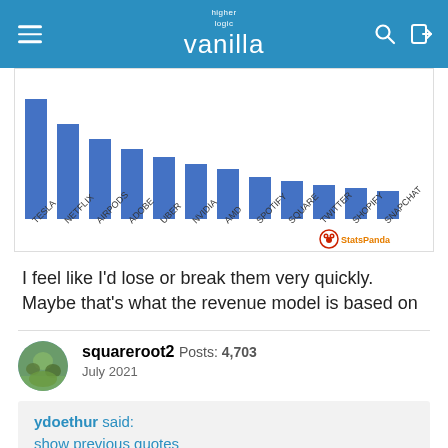higher logic vanilla
[Figure (bar-chart): Bar chart with rotated x-axis labels: TESLA, NETFLIX, AIRPODS, ADOBE, UBER, NVIDIA, AMD, SPOTIFY, SQUARE, TWITTER, SHOPIFY, SNAPCHAT. StatsPanda watermark visible.]
I feel like I'd lose or break them very quickly. Maybe that's what the revenue model is based on
squareroot2 Posts: 4,703 July 2021
ydoethur said:
show previous quotes
The business plan was predicated on full houses, because the TV rights money has already been allocated to the consortia